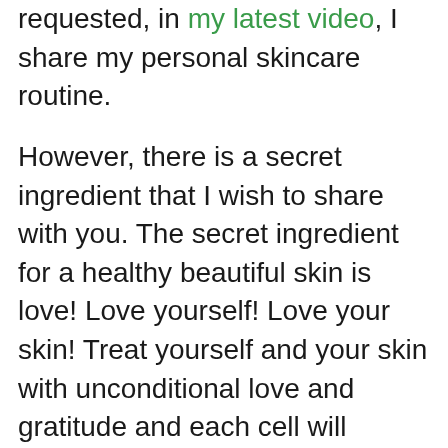requested, in my latest video, I share my personal skincare routine.
However, there is a secret ingredient that I wish to share with you. The secret ingredient for a healthy beautiful skin is love! Love yourself! Love your skin! Treat yourself and your skin with unconditional love and gratitude and each cell will respond to you with radiant health, vitality and beauty! Don't believe me? Then check the book The Power of Your